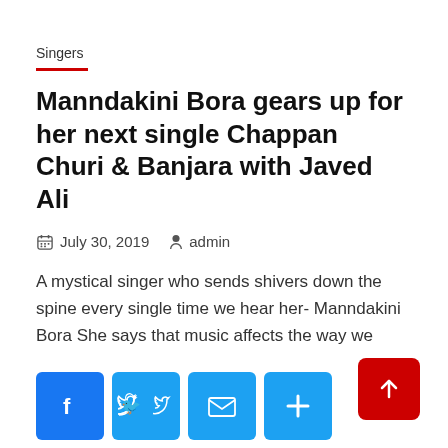Singers
Manndakini Bora gears up for her next single Chappan Churi & Banjara with Javed Ali
July 30, 2019   admin
A mystical singer who sends shivers down the spine every single time we hear her- Manndakini Bora She says that music affects the way we
[Figure (other): Social share buttons: Facebook, Twitter, Email, Plus]
Read More